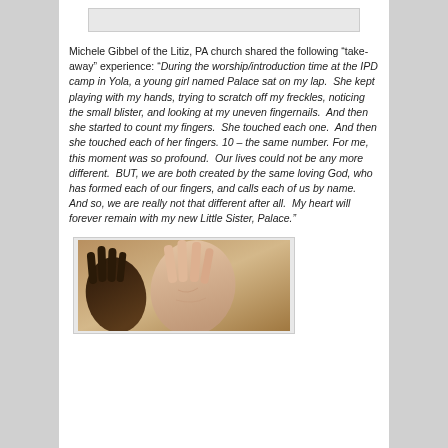[Figure (photo): Partial top image placeholder (cropped image at top of page)]
Michele Gibbel of the Litiz, PA church shared the following “take-away” experience: “During the worship/introduction time at the IPD camp in Yola, a young girl named Palace sat on my lap.  She kept playing with my hands, trying to scratch off my freckles, noticing the small blister, and looking at my uneven fingernails.  And then she started to count my fingers.  She touched each one.  And then she touched each of her fingers. 10 – the same number. For me, this moment was so profound.  Our lives could not be any more different.  BUT, we are both created by the same loving God, who has formed each of our fingers, and calls each of us by name.  And so, we are really not that different after all.  My heart will forever remain with my new Little Sister, Palace.”
[Figure (photo): Photo of two hands side by side — one darker-skinned hand and one lighter-skinned hand touching, held against a sandy background.]